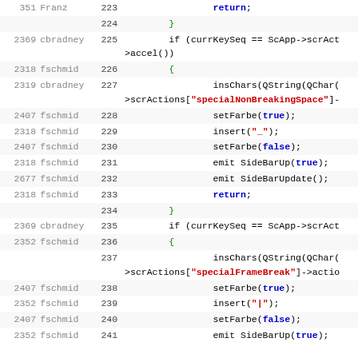[Figure (screenshot): Source code diff/annotated view showing revision numbers, authors, line numbers, and C++ code lines 223-241 with syntax highlighting]